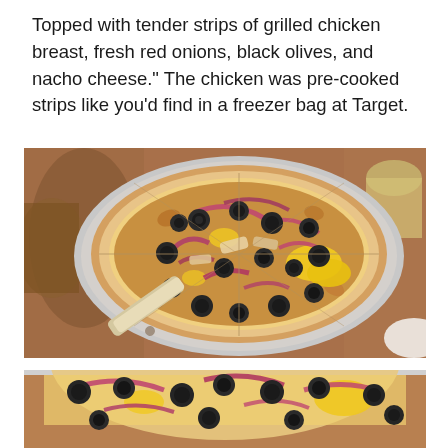Topped with tender strips of grilled chicken breast, fresh red onions, black olives, and nacho cheese." The chicken was pre-cooked strips like you'd find in a freezer bag at Target.
[Figure (photo): A pizza topped with black olives, red onions, chicken strips, and yellow nacho cheese sauce, served on a round metal pan with a pizza cutter handle visible, on a brown stone/granite surface. Another dish is partially visible on the left and a drink on the upper right.]
[Figure (photo): A close-up partial view of a similar pizza topped with black olives, red onions, and yellow cheese, cropped at the bottom of the page.]